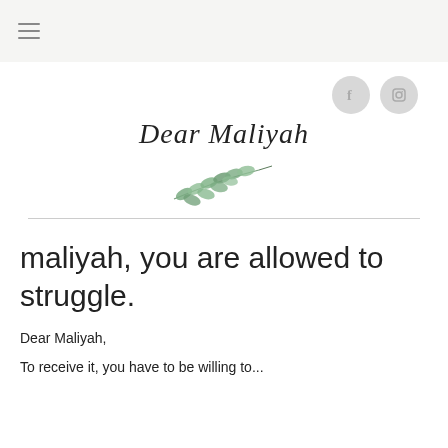≡ (hamburger navigation menu)
[Figure (illustration): Social media icons: Facebook (f) and Instagram (camera) circular grey buttons]
Dear Maliyah
[Figure (illustration): Watercolor painting of a green eucalyptus/olive branch with oval leaves]
maliyah, you are allowed to struggle.
Dear Maliyah,
To receive it, you have to...